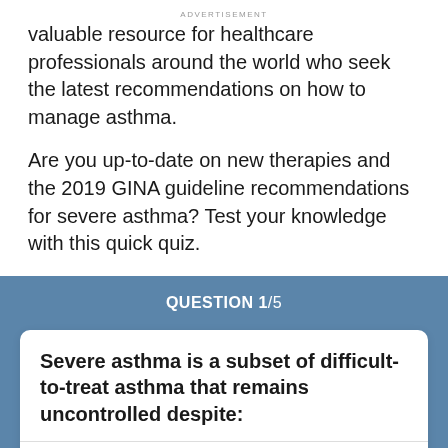ADVERTISEMENT
valuable resource for healthcare professionals around the world who seek the latest recommendations on how to manage asthma.
Are you up-to-date on new therapies and the 2019 GINA guideline recommendations for severe asthma? Test your knowledge with this quick quiz.
QUESTION 1/5
Severe asthma is a subset of difficult-to-treat asthma that remains uncontrolled despite:
Increasing dosage of medicine